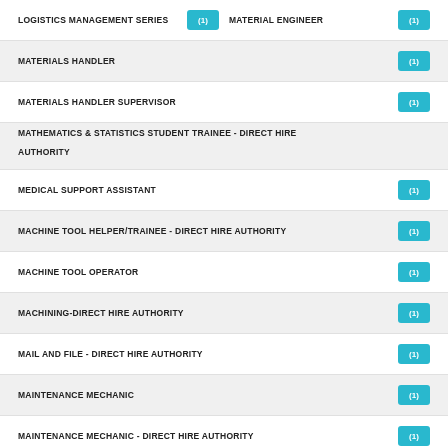LOGISTICS MANAGEMENT SERIES (1)   MATERIAL ENGINEER (1)
MATERIALS HANDLER (1)
MATERIALS HANDLER SUPERVISOR (1)
MATHEMATICS & STATISTICS STUDENT TRAINEE - DIRECT HIRE AUTHORITY
MEDICAL SUPPORT ASSISTANT (1)
MACHINE TOOL HELPER/TRAINEE - DIRECT HIRE AUTHORITY (1)
MACHINE TOOL OPERATOR (1)
MACHINING-DIRECT HIRE AUTHORITY (1)
MAIL AND FILE - DIRECT HIRE AUTHORITY (1)
MAINTENANCE MECHANIC (1)
MAINTENANCE MECHANIC - DIRECT HIRE AUTHORITY (1)
MAINTENANCE MECHANIC DIRECT HIRE AUTHORITY (1)
MAINTENANCE WORKER HELPER (1)